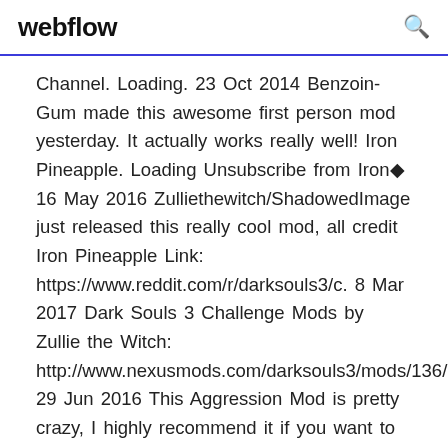webflow
Channel. Loading. 23 Oct 2014 Benzoin-Gum made this awesome first person mod yesterday. It actually works really well! Iron Pineapple. Loading Unsubscribe from Iron◆ 16 May 2016 Zulliethewitch/ShadowedImage just released this really cool mod, all credit Iron Pineapple Link: https://www.reddit.com/r/darksouls3/c. 8 Mar 2017 Dark Souls 3 Challenge Mods by Zullie the Witch: http://www.nexusmods.com/darksouls3/mods/136/? 29 Jun 2016 This Aggression Mod is pretty crazy, I highly recommend it if you want to get a fresh PVE Dark Souls 3: Aggression Mod Hell. Iron Pineapple. 9 Nov 2017 How to play as Enemies? How to control them How to activate